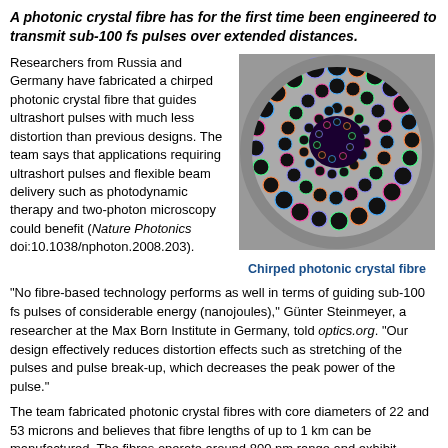A photonic crystal fibre has for the first time been engineered to transmit sub-100 fs pulses over extended distances.
Researchers from Russia and Germany have fabricated a chirped photonic crystal fibre that guides ultrashort pulses with much less distortion than previous designs. The team says that applications requiring ultrashort pulses and flexible beam delivery such as photodynamic therapy and two-photon microscopy could benefit (Nature Photonics doi:10.1038/nphoton.2008.203).
[Figure (photo): Cross-section microscope image of a chirped photonic crystal fibre showing concentric rings of holes of varying sizes around a dark central core, with colored outlines highlighting the structure.]
Chirped photonic crystal fibre
"No fibre-based technology performs as well in terms of guiding sub-100 fs pulses of considerable energy (nanojoules)," Günter Steinmeyer, a researcher at the Max Born Institute in Germany, told optics.org. "Our design effectively reduces distortion effects such as stretching of the pulses and pulse break-up, which decreases the peak power of the pulse."
The team fabricated photonic crystal fibres with core diameters of 22 and 53 microns and believes that fibre lengths of up to 1 km can be manufactured. The fibres operate around 800 nm range and exhibit transmission bandwidths of up to 120 nm.
Until now, photonic crystal fibres have been manufactured so that every cell in the design is of equal size. The team has instead introduced a radial chirp